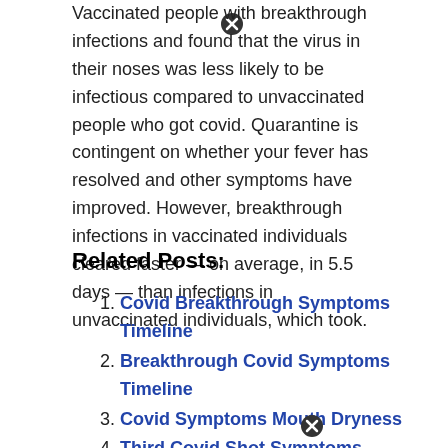Vaccinated people with breakthrough infections and found that the virus in their noses was less likely to be infectious compared to unvaccinated people who got covid. Quarantine is contingent on whether your fever has resolved and other symptoms have improved. However, breakthrough infections in vaccinated individuals cleared faster — on average, in 5.5 days — than infections in unvaccinated individuals, which took.
Related Posts:
Covid Breakthrough Symptoms Timeline
Breakthrough Covid Symptoms Timeline
Covid Symptoms Mouth Dryness
Third Covid Shot Symptoms
Symptoms Of Covid After Fully Vaccinated Sore Throat
Post Covid Cough Symptoms